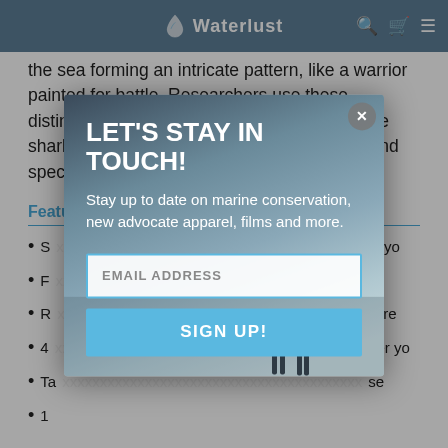Waterlust
the sea forming an intricate pattern, like a warrior painted for battle. Researchers use these distinctive markings to identify individual whale sharks. Like a fingerprint, each is as unique and special as the last.
Featu...
S... for you...
F... m...
R... re...
4... tter yo...
Ta... se...
1...
[Figure (screenshot): Email signup modal popup with dark misty background image showing two silhouettes walking. Modal contains headline 'LET'S STAY IN TOUCH!', subtext about marine conservation, an email address input field, and a SIGN UP! button. Close button (X) in top right corner.]